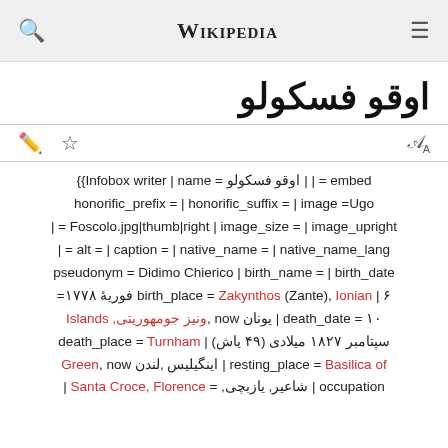Wikipedia
اوقو فسكولو
embed = | | اوقو فسكولو = Infobox writer | name}} honorific_prefix = | honorific_suffix = | image =Ugo Foscolo.jpg|thumb|right | image_size = | image_upright = | alt = | caption = | native_name = | native_name_lang = | pseudonym = Didimo Chierico | birth_name = | birth_date birth_place = Zakynthos (Zante), Ionian | ۶ فوریهٔ ۱۷۷۸= death_date = ۱۰ | یونان now ,ونیز جومهوریتی, Islands سپتامبر ۱۸۲۷ میلادی (۴۹ یاش) | death_place = Turnham resting_place = Basilica of | اینگیلیس ,لندن Green, now occupation | شاعیر, یازبچی, = Santa Croce, Florence